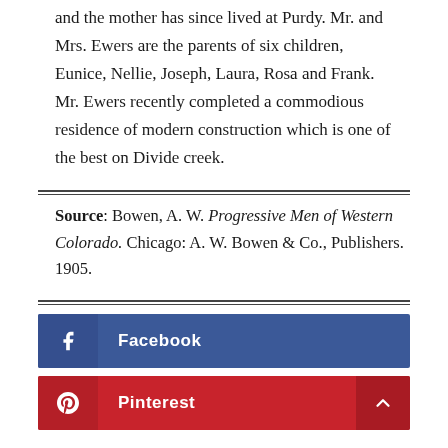and the mother has since lived at Purdy. Mr. and Mrs. Ewers are the parents of six children, Eunice, Nellie, Joseph, Laura, Rosa and Frank. Mr. Ewers recently completed a commodious residence of modern construction which is one of the best on Divide creek.
Source: Bowen, A. W. Progressive Men of Western Colorado. Chicago: A. W. Bowen & Co., Publishers. 1905.